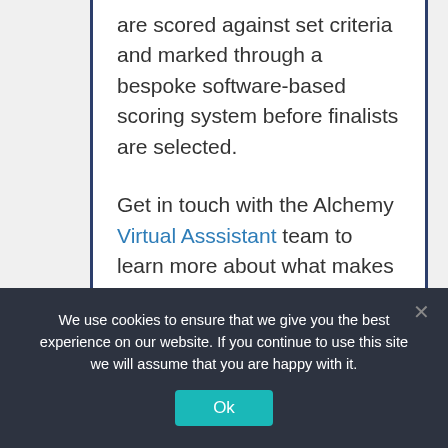are scored against set criteria and marked through a bespoke software-based scoring system before finalists are selected.
Get in touch with the Alchemy Virtual Asssistant team to learn more about what makes our Virtual Assistant services for entrepreneurs and small enterprising businesses so impactful.
We use cookies to ensure that we give you the best experience on our website. If you continue to use this site we will assume that you are happy with it.